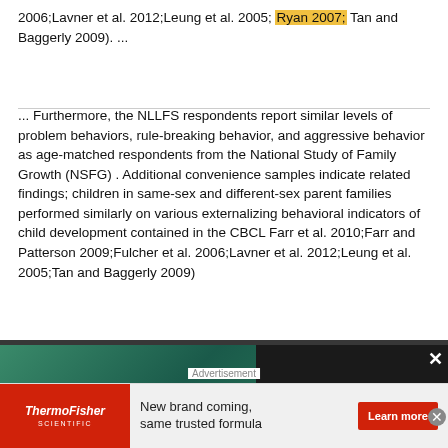2006;Lavner et al. 2012;Leung et al. 2005; Ryan 2007; Tan and Baggerly 2009). ...
... Furthermore, the NLLFS respondents report similar levels of problem behaviors, rule-breaking behavior, and aggressive behavior as age-matched respondents from the National Study of Family Growth (NSFG) . Additional convenience samples indicate related findings; children in same-sex and different-sex parent families performed similarly on various externalizing behavioral indicators of child development contained in the CBCL Farr et al. 2010;Farr and Patterson 2009;Fulcher et al. 2006;Lavner et al. 2012;Leung et al. 2005;Tan and Baggerly 2009)
[Figure (screenshot): Video ad overlay: thumbnail of a video titled 'How to write a job post for a scientist' with play button, and text panel reading 'How to write a job post for a scientist, based on an analysis of how scientists have engaged with 2-million job posts']
Aug 2014
Wendy D. Manning · Marshal Neal Fettro · Esther O. Lamidi
[Figure (screenshot): Bottom banner advertisement: ThermoFisher Scientific logo on red background, text 'New brand coming, same trusted formula', and red Learn more button]